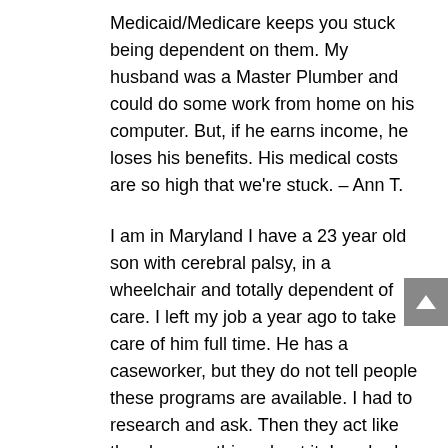Medicaid/Medicare keeps you stuck being dependent on them. My husband was a Master Plumber and could do some work from home on his computer. But, if he earns income, he loses his benefits. His medical costs are so high that we're stuck. – Ann T.
I am in Maryland I have a 23 year old son with cerebral palsy, in a wheelchair and totally dependent of care. I left my job a year ago to take care of him full time. He has a caseworker, but they do not tell people these programs are available. I had to research and ask. Then they act like they know nothing about it. I pushed the issue and they found information. She applied for me to be put on his Medicaid waiver to be his paid caregiver. It has been a month I have heard nothing don't even know what the pay would be. I hope everyone that needs this gets the help they need. It comes down to